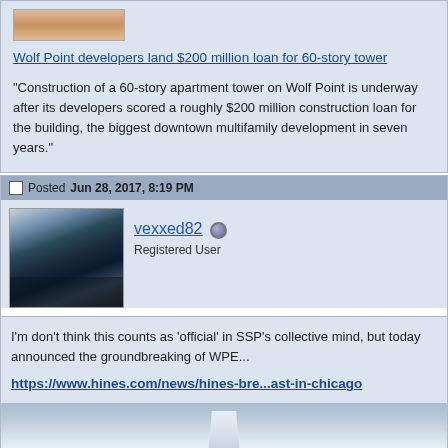[Figure (photo): Partial view of a person's avatar/profile photo at the top of the page]
Wolf Point developers land $200 million loan for 60-story tower
"Construction of a 60-story apartment tower on Wolf Point is underway after its developers scored a roughly $200 million construction loan for the building, the biggest downtown multifamily development in seven years."
Posted Jun 28, 2017, 8:19 PM
[Figure (photo): Profile photo of user vexxed82 - a person wearing headphones in what appears to be a cockpit with aerial city view in background]
vexxed82
Registered User
I'm don't think this counts as 'official' in SSP's collective mind, but today announced the groundbreaking of WPE...
https://www.hines.com/news/hines-bre...ast-in-chicago
[Figure (photo): Partial image of a building/skyscraper against a cloudy sky]